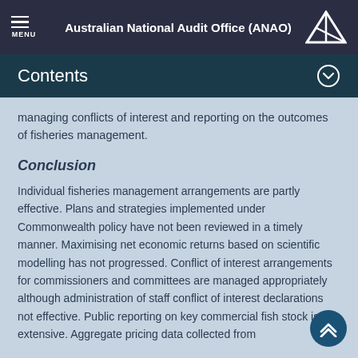Australian National Audit Office (ANAO)
Contents
managing conflicts of interest and reporting on the outcomes of fisheries management.
Conclusion
Individual fisheries management arrangements are partly effective. Plans and strategies implemented under Commonwealth policy have not been reviewed in a timely manner. Maximising net economic returns based on scientific modelling has not progressed. Conflict of interest arrangements for commissioners and committees are managed appropriately although administration of staff conflict of interest declarations not effective. Public reporting on key commercial fish stock is extensive. Aggregate pricing data collected from